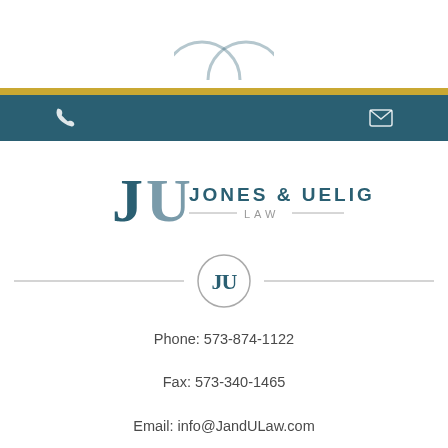[Figure (logo): Two overlapping teal circles (partially visible at top)]
[Figure (logo): Jones & Ueligger Law firm logo with JU monogram and text]
[Figure (illustration): Horizontal divider line with circular JU monogram medallion in center]
Phone: 573-874-1122
Fax: 573-340-1465
Email: info@JandULaw.com
Monday - Friday | 8:00AM - 5:00PM